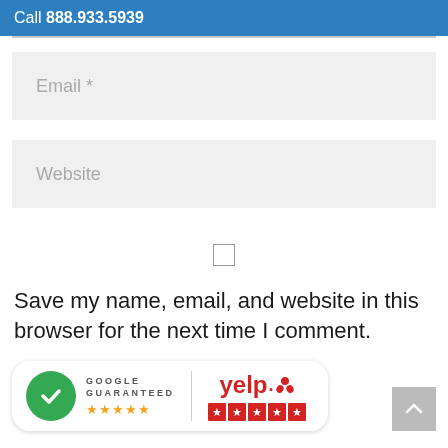Call 888.933.5939
Email *
Website
[Figure (other): Unchecked checkbox input element]
Save my name, email, and website in this browser for the next time I comment.
[Figure (other): Google Guaranteed badge with 5 orange stars and Yelp logo with 5 red star boxes]
[Figure (other): Scroll-to-top button with upward chevron arrow]